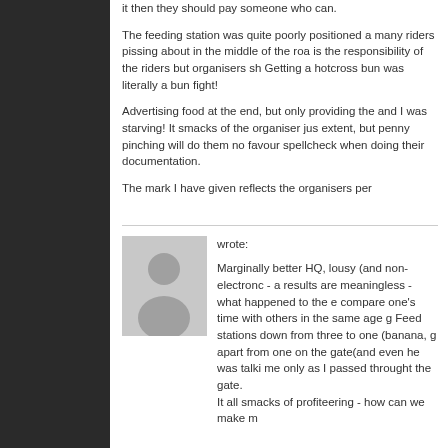it then they should pay someone who can.
The feeding station was quite poorly positioned a many riders pissing about in the middle of the roa is the responsibility of the riders but organisers sh Getting a hotcross bun was literally a bun fight!
Advertising food at the end, but only providing the and I was starving! It smacks of the organiser jus extent, but penny pinching will do them no favour spellcheck when doing their documentation.
The mark I have given reflects the organisers per
[Figure (illustration): Generic user avatar placeholder - grey background with silhouette of a person (head and shoulders)]
wrote:
Marginally better HQ, lousy (and non-electronc - a results are meaningless - what happened to the e compare one's time with others in the same age g Feed stations down from three to one (banana, g apart from one on the gate(and even he was talki me only as I passed throught the gate. It all smacks of profiteering - how can we make m